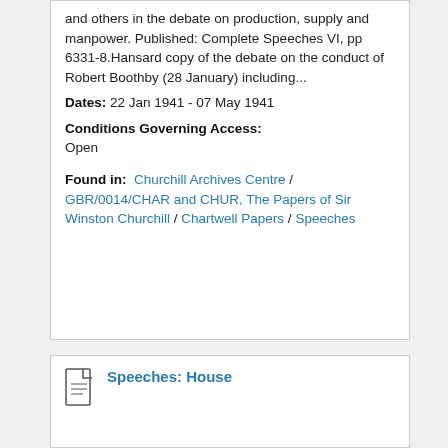and others in the debate on production, supply and manpower. Published: Complete Speeches VI, pp 6331-8.Hansard copy of the debate on the conduct of Robert Boothby (28 January) including...
Dates: 22 Jan 1941 - 07 May 1941
Conditions Governing Access: Open
Found in: Churchill Archives Centre / GBR/0014/CHAR and CHUR, The Papers of Sir Winston Churchill / Chartwell Papers / Speeches
Speeches: House